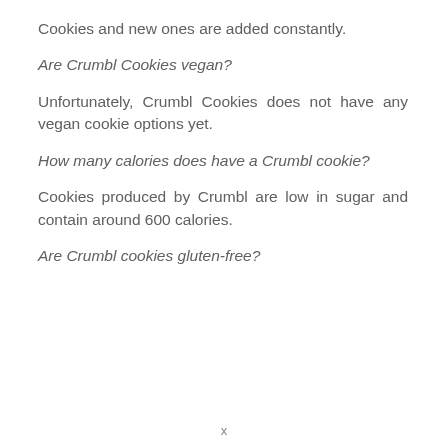Cookies and new ones are added constantly.
Are Crumbl Cookies vegan?
Unfortunately, Crumbl Cookies does not have any vegan cookie options yet.
How many calories does have a Crumbl cookie?
Cookies produced by Crumbl are low in sugar and contain around 600 calories.
Are Crumbl cookies gluten-free?